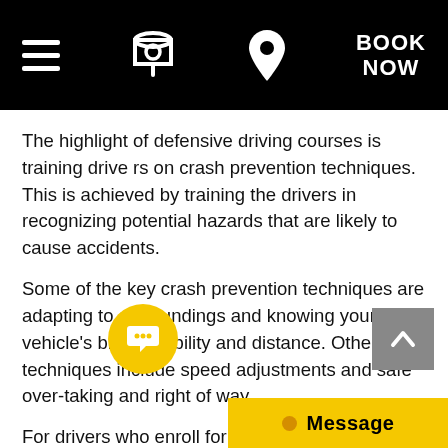BOOK NOW
The highlight of defensive driving courses is training drivers on crash prevention techniques. This is achieved by training the drivers in recognizing potential hazards that are likely to cause accidents.
Some of the key crash prevention techniques are adapting to surroundings and knowing your vehicle's braking ability and distance. Other techniques include speed adjustments and safe over-taking and right of way.
For drivers who enroll for defensive driving courses, their driving skills are polished, and as such, their likelihood of causing accidents are greatly minimized. In some states, these courses are mandatory, and all drivers are required to go for these courses before they are given their licenses.